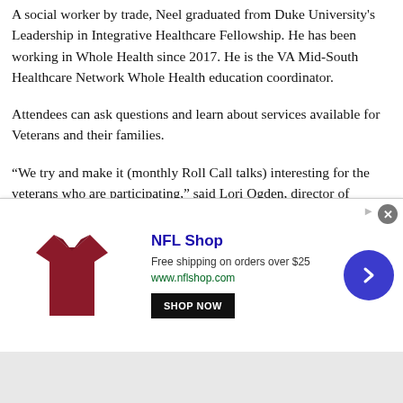A social worker by trade, Neel graduated from Duke University's Leadership in Integrative Healthcare Fellowship. He has been working in Whole Health since 2017. He is the VA Mid-South Healthcare Network Whole Health education coordinator.
Attendees can ask questions and learn about services available for Veterans and their families.
“We try and make it (monthly Roll Call talks) interesting for the veterans who are participating,” said Lori Ogden, director of development and external affairs for the Daniels Center. “Our speakers give out a lot of great information that people need to know about.”
All of the sessions are virtual and on Tuesdays. The April 12 session will be a panel discussion on VA...
[Figure (infographic): NFL Shop advertisement banner. Shows a dark red NFL jersey image on the left, NFL Shop text in blue, 'Free shipping on orders over $25', www.nflshop.com, SHOP NOW button, and a blue circle arrow button on the right. Close (X) button in top right.]